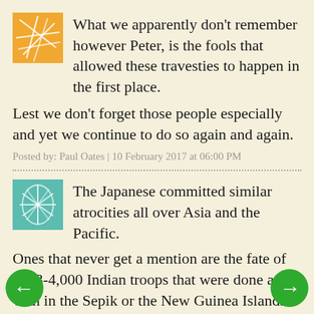[Figure (illustration): Orange avatar icon with white geometric/leaf pattern lines]
What we apparently don't remember however Peter, is the fools that allowed these travesties to happen in the first place.

Lest we don't forget those people especially and yet we continue to do so again and again.
Posted by: Paul Oates | 10 February 2017 at 06:00 PM
[Figure (illustration): Teal/turquoise avatar icon with white leaf/feather pattern]
The Japanese committed similar atrocities all over Asia and the Pacific.

Ones that never get a mention are the fate of the 3-4,000 Indian troops that were done away with in the Sepik or the New Guinea Islands men who made up most of the Japanese initial